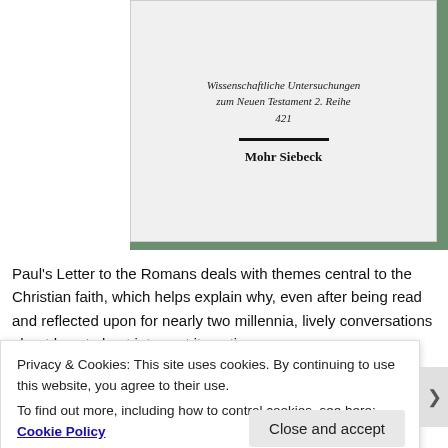[Figure (illustration): Book cover preview showing publication series text 'Wissenschaftliche Untersuchungen zum Neuen Testament 2. Reihe 421' with a horizontal divider and publisher name 'Mohr Siebeck' on a light gray background]
Paul's Letter to the Romans deals with themes central to the Christian faith, which helps explain why, even after being read and reflected upon for nearly two millennia, lively conversations about how to best interpret it continue
Privacy & Cookies: This site uses cookies. By continuing to use this website, you agree to their use.
To find out more, including how to control cookies, see here: Cookie Policy